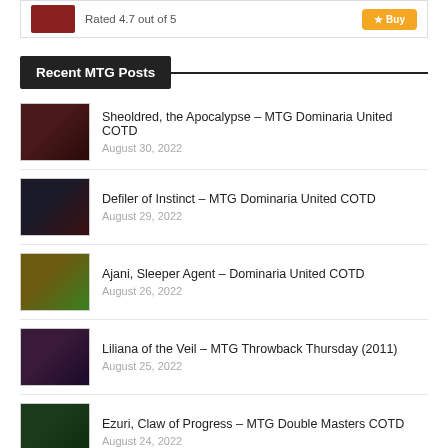Rated 4.7 out of 5
Recent MTG Posts
Sheoldred, the Apocalypse – MTG Dominaria United COTD
August 30, 2022
Defiler of Instinct – MTG Dominaria United COTD
August 29, 2022
Ajani, Sleeper Agent – Dominaria United COTD
August 26, 2022
Liliana of the Veil – MTG Throwback Thursday (2011)
August 25, 2022
Ezuri, Claw of Progress – MTG Double Masters COTD
August 24, 2022